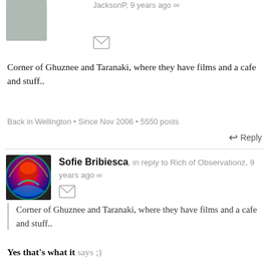JacksonP, 9 years ago ∞
Corner of Ghuznee and Taranaki, where they have films and a cafe and stuff..
Back in Wellington • Since Nov 2006 • 5550 posts
↩ Reply
Sofie Bribiesca, in reply to Rich of Observationz, 9 years ago ∞
Corner of Ghuznee and Taranaki, where they have films and a cafe and stuff..
Yes that's what it says ;)
here and there. • Since Nov 2007 • 6796 posts
↩ Reply
JacksonP, 9 years ago ∞
I appreciate your both passing up on that JFCL...